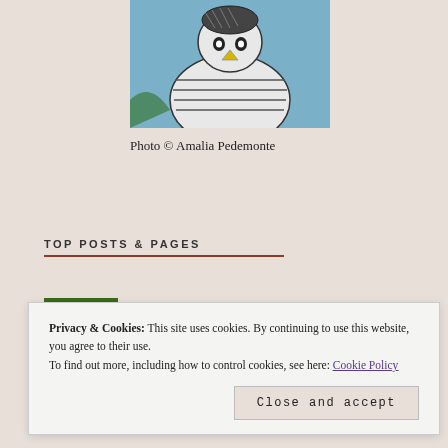[Figure (photo): Partial view of a street art or graffiti mural showing stylized figures in black, white, and blue tones]
Photo © Amalia Pedemonte
TOP POSTS & PAGES
[Figure (photo): Small thumbnail image of a colorful artwork, likely the 'Sisters' post]
Sisters
Privacy & Cookies: This site uses cookies. By continuing to use this website, you agree to their use.
To find out more, including how to control cookies, see here: Cookie Policy
Close and accept